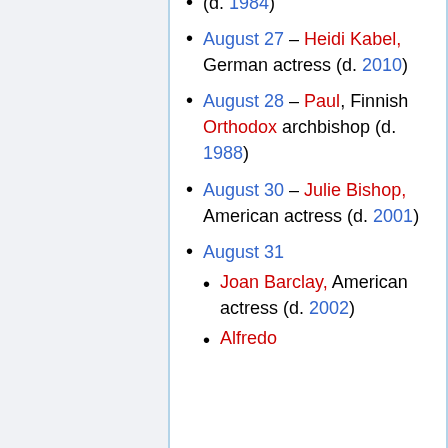(d. 1984)
August 27 – Heidi Kabel, German actress (d. 2010)
August 28 – Paul, Finnish Orthodox archbishop (d. 1988)
August 30 – Julie Bishop, American actress (d. 2001)
August 31
Joan Barclay, American actress (d. 2002)
Alfredo